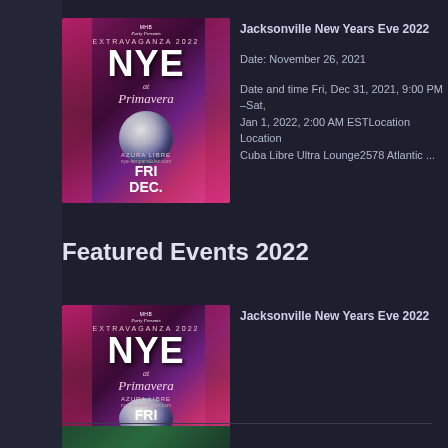[Figure (photo): NYE party event flyer with pink/magenta color scheme showing NYE text and disco ball]
Jacksonville New Years Eve 2022
Date: November 26, 2021
Date and time Fri, Dec 31, 2021, 9:00 PM –Sat, Jan 1, 2022, 2:00 AM ESTLocation Location Cuba Libre Ultra Lounge2578 Atlantic ...
Featured Events 2022
[Figure (photo): NYE party event flyer with pink/magenta color scheme showing NYE text and disco ball]
Jacksonville New Years Eve 2022